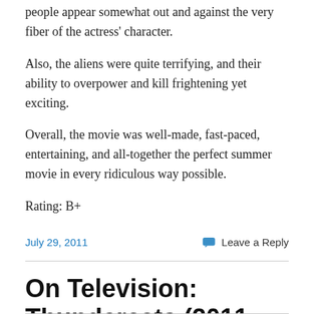people appear somewhat out and against the very fiber of the actress' character.
Also, the aliens were quite terrifying, and their ability to overpower and kill frightening yet exciting.
Overall, the movie was well-made, fast-paced, entertaining, and all-together the perfect summer movie in every ridiculous way possible.
Rating: B+
July 29, 2011
Leave a Reply
On Television: Thundercats (2011 Series)